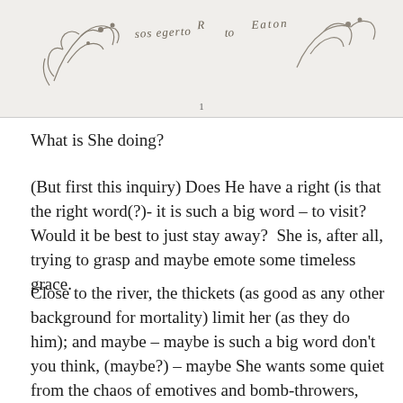[Figure (illustration): A hand-drawn sketch of figures or branches with handwritten text including what appears to be 'Eaton' at the top of the page, on a light beige background with a page number '1' at the bottom center.]
What is She doing?
(But first this inquiry) Does He have a right (is that the right word(?)- it is such a big word – to visit? Would it be best to just stay away?  She is, after all, trying to grasp and maybe emote some timeless grace.
Close to the river, the thickets (as good as any other background for mortality) limit her (as they do him); and maybe – maybe is such a big word don't you think, (maybe?) – maybe She wants some quiet from the chaos of emotives and bomb-throwers, and enfant terribles, and maybe just (and is this the smallest maybe) maybe from He and his craziness?